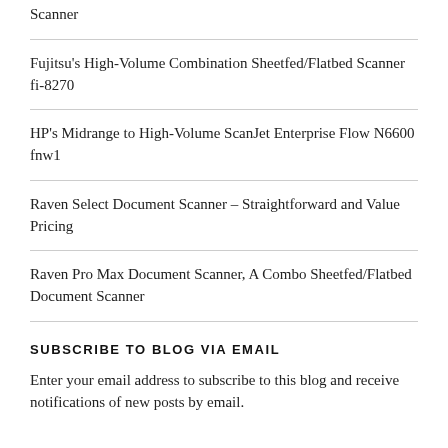Scanner
Fujitsu's High-Volume Combination Sheetfed/Flatbed Scanner fi-8270
HP's Midrange to High-Volume ScanJet Enterprise Flow N6600 fnw1
Raven Select Document Scanner – Straightforward and Value Pricing
Raven Pro Max Document Scanner, A Combo Sheetfed/Flatbed Document Scanner
SUBSCRIBE TO BLOG VIA EMAIL
Enter your email address to subscribe to this blog and receive notifications of new posts by email.